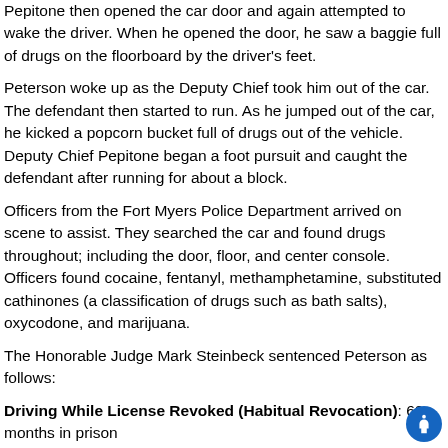Pepitone then opened the car door and again attempted to wake the driver. When he opened the door, he saw a baggie full of drugs on the floorboard by the driver's feet.
Peterson woke up as the Deputy Chief took him out of the car. The defendant then started to run. As he jumped out of the car, he kicked a popcorn bucket full of drugs out of the vehicle. Deputy Chief Pepitone began a foot pursuit and caught the defendant after running for about a block.
Officers from the Fort Myers Police Department arrived on scene to assist. They searched the car and found drugs throughout; including the door, floor, and center console. Officers found cocaine, fentanyl, methamphetamine, substituted cathinones (a classification of drugs such as bath salts), oxycodone, and marijuana.
The Honorable Judge Mark Steinbeck sentenced Peterson as follows:
Driving While License Revoked (Habitual Revocation): 60 months in prison
Driving Under the Influence: credit time served, DUI school, $500 fine, 10 day vehicle impound, attend a Lee Memorial Trauma c